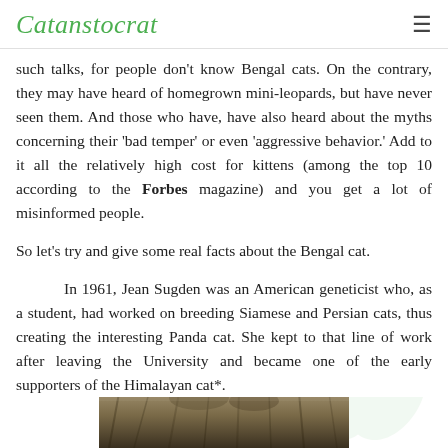Catanstocrat
such talks, for people don't know Bengal cats. On the contrary, they may have heard of homegrown mini-leopards, but have never seen them. And those who have, have also heard about the myths concerning their 'bad temper' or even 'aggressive behavior.' Add to it all the relatively high cost for kittens (among the top 10 according to the Forbes magazine) and you get a lot of misinformed people.
So let's try and give some real facts about the Bengal cat.
In 1961, Jean Sugden was an American geneticist who, as a student, had worked on breeding Siamese and Persian cats, thus creating the interesting Panda cat. She kept to that line of work after leaving the University and became one of the early supporters of the Himalayan cat*.
[Figure (photo): Partial photo of a Bengal cat visible at the bottom of the page]